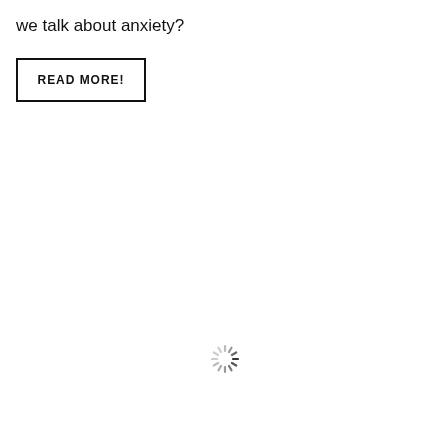we talk about anxiety?
READ MORE!
[Figure (other): Loading spinner icon — circular arrangement of short dark and light dashes radiating from center, indicating a page loading state]